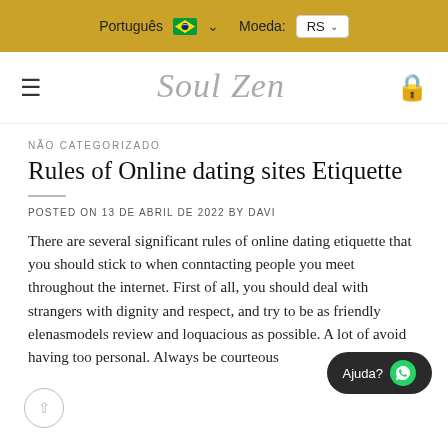Português  Moeda: RS
[Figure (logo): Soul Zen handwritten script logo in grey italic]
NÃO CATEGORIZADO
Rules of Online dating sites Etiquette
POSTED ON 13 DE ABRIL DE 2022 BY DAVI
There are several significant rules of online dating etiquette that you should stick to when conntacting people you meet throughout the internet. First of all, you should deal with strangers with dignity and respect, and try to be as friendly elenasmodels review and loquacious as possible. A lot of avoid having too personal. Always be courteous